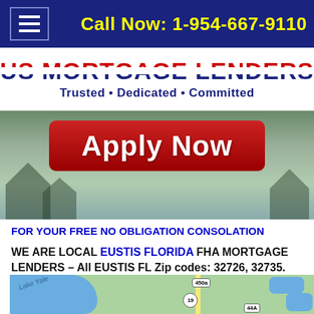Call Now: 1-954-667-9110
[Figure (logo): US Mortgage Lenders logo with red-white-blue striped text and tagline 'Trusted • Dedicated • Committed']
[Figure (illustration): Apply Now red button over background image of homes]
FOR YOUR FREE NO OBLIGATION CONSOLATION
WE ARE LOCAL EUSTIS FLORIDA FHA MORTGAGE LENDERS – All EUSTIS FL Zip codes: 32726, 32735.
[Figure (map): Map showing Eustis Florida area with Lake Yale, routes 19 and 450a labeled]